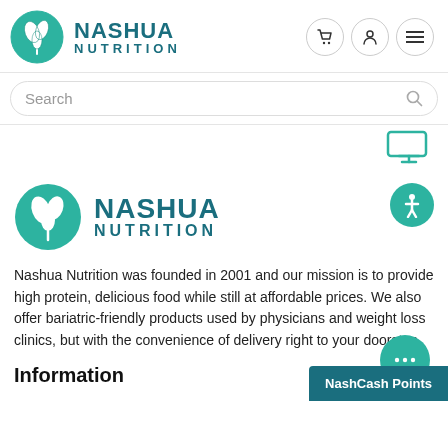[Figure (logo): Nashua Nutrition logo in header — teal circle with leaf icon, NASHUA NUTRITION text in dark teal]
[Figure (logo): Header cart, person, and menu icons (three circular buttons)]
Search
[Figure (logo): Teal laptop/screen icon on the right side of divider strip]
[Figure (logo): Nashua Nutrition logo in body — teal circle with leaf icon, NASHUA NUTRITION text in dark teal (larger version)]
[Figure (illustration): Accessibility icon button (white person figure on teal circle background), top right of body section]
Nashua Nutrition was founded in 2001 and our mission is to provide high protein, delicious food while still at affordable prices. We also offer bariatric-friendly products used by physicians and weight loss clinics, but with the convenience of delivery right to your doorstep.
Information
[Figure (illustration): Teal chat bubble button with three dots, bottom right]
NashCash Points